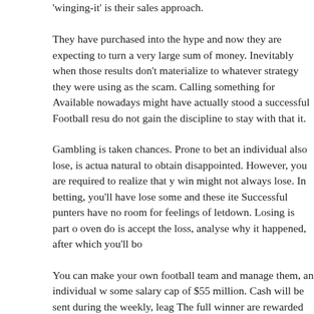'winging-it' is their sales approach.
They have purchased into the hype and now they are expecting to turn a very large sum of money. Inevitably when those results don't materialize to whatever strategy they were using as the scam. Calling something for Available nowadays might have actually stood a successful Football resu do not gain the discipline to stay with that it.
Gambling is taken chances. Prone to bet an individual also lose, is actua natural to obtain disappointed. However, you are required to realize that win might not always lose. In betting, you'll have lose some and these ite Successful punters have no room for feelings of letdown. Losing is part o oven do is accept the loss, analyse why it happened, after which you'll bo
You can make your own football team and manage them, an individual w some salary cap of $55 million. Cash will be sent during the weekly, leag The full winner are rewarded having a grand prize worth $5,000. Cost inv fee. A genuine effort . additional charges, however, if you do decide perfo through online.
I've looked at football for years. I probably first got into it back to 1974, a sport here means that over the media. For a young lad interested in spor and also people argue that I surely could enjoy the heyday among the sp